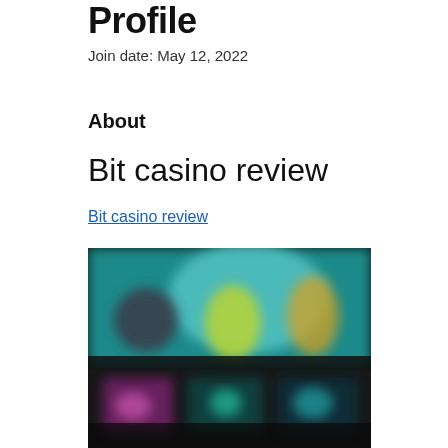Profile
Join date: May 12, 2022
About
Bit casino review
Bit casino review
[Figure (screenshot): Blurred screenshot of a casino website interface showing colorful game thumbnails with characters on teal/dark background]